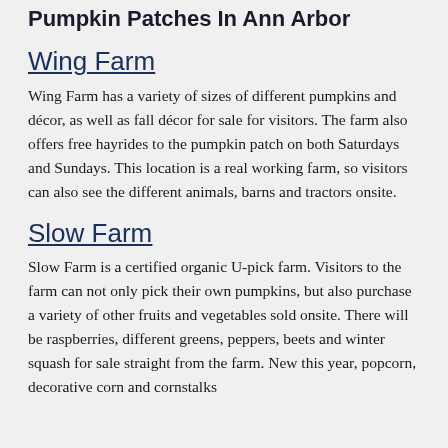Pumpkin Patches In Ann Arbor
Wing Farm
Wing Farm has a variety of sizes of different pumpkins and décor, as well as fall décor for sale for visitors. The farm also offers free hayrides to the pumpkin patch on both Saturdays and Sundays. This location is a real working farm, so visitors can also see the different animals, barns and tractors onsite.
Slow Farm
Slow Farm is a certified organic U-pick farm. Visitors to the farm can not only pick their own pumpkins, but also purchase a variety of other fruits and vegetables sold onsite. There will be raspberries, different greens, peppers, beets and winter squash for sale straight from the farm. New this year, popcorn, decorative corn and cornstalks